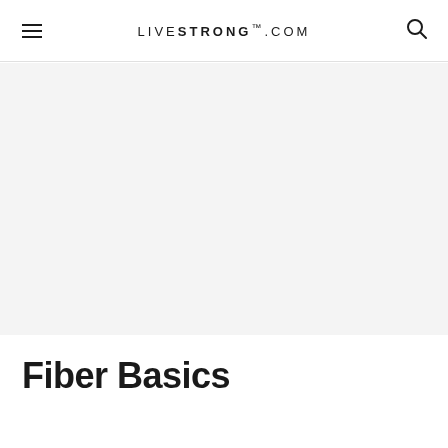LIVESTRONG.COM
[Figure (photo): Large gray placeholder image area for article photo]
Fiber Basics